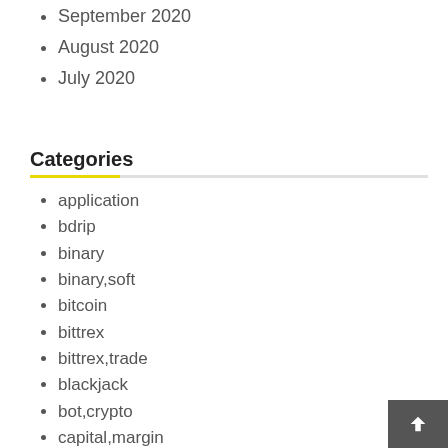September 2020
August 2020
July 2020
Categories
application
bdrip
binary
binary,soft
bitcoin
bittrex
bittrex,trade
blackjack
bot,crypto
capital,margin
casino
casino,spins
crack